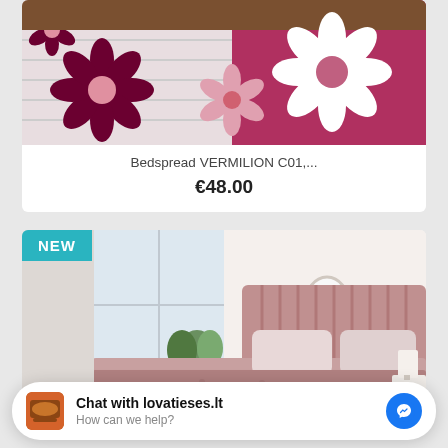[Figure (photo): Product photo of a floral bedspread pattern in purple/magenta colors with flower designs on white and dark pink background, partially cropped at top]
Bedspread VERMILION C01,...
€48.00
[Figure (photo): Product photo of a bedroom with a mauve/dusty rose bedspread on a bed with a pink upholstered headboard, white walls, plant decor, and natural light. A 'NEW' badge is shown in teal/cyan in the top left corner.]
Chat with lovatieses.lt
How can we help?